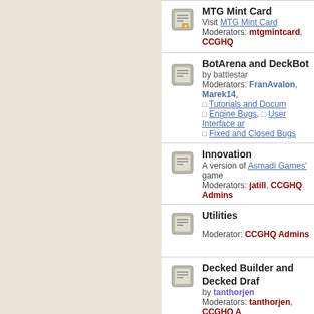MTG Mint Card — Visit MTG Mint Card — Moderators: mtgmintcard, CCGHQ
BotArena and DeckBot — by battlestar — Moderators: FranAvalon, Marek14, — Subforums: Tutorials and Documentation, Engine Bugs, User Interface and ..., Fixed and Closed Bugs
Innovation — A version of Asmadi Games' game — Moderators: jatill, CCGHQ Admins
Utilities — Moderator: CCGHQ Admins
Decked Builder and Decked Draft — by tanthorjen — Moderators: tanthorjen, CCGHQ A
Virtual Playtable — by Detonator — Moderators: detonator, CCGHQ Ad
Dominion — A version of Asmadi Games' game — Moderators: jatill, CCGHQ Admins